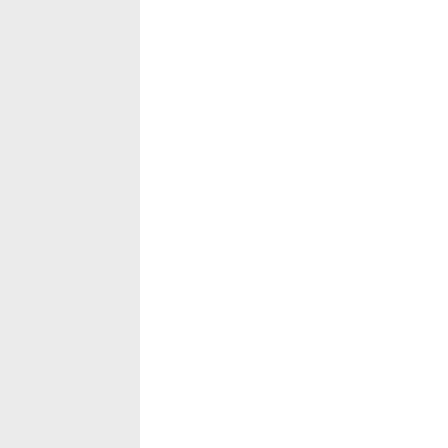dare you say those BLATANT LIES. Trump also has a certified unredacted Birth Certificate as well. So WHO's LYING? You are disgusting and I will not respond to your ignorance any longer